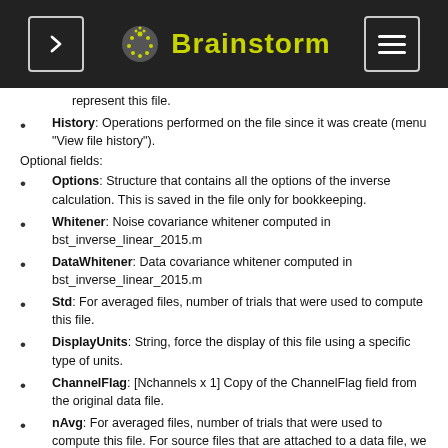Brainstorm
represent this file.
History: Operations performed on the file since it was create (menu "View file history").
Optional fields:
Options: Structure that contains all the options of the inverse calculation. This is saved in the file only for bookkeeping.
Whitener: Noise covariance whitener computed in bst_inverse_linear_2015.m
DataWhitener: Data covariance whitener computed in bst_inverse_linear_2015.m
Std: For averaged files, number of trials that were used to compute this file.
DisplayUnits: String, force the display of this file using a specific type of units.
ChannelFlag: [Nchannels x 1] Copy of the ChannelFlag field from the original data file.
nAvg: For averaged files, number of trials that were used to compute this file. For source files that are attached to a data file, we use the nAvg field from the data file.
Full source maps